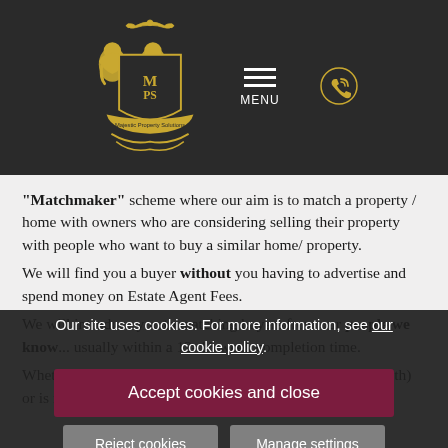[Figure (logo): Majestic Property Solutions heraldic crest logo in gold on dark background, with MPS monogram, lions, crown, and banner text]
"Matchmaker" scheme where our aim is to match a property / home with owners who are considering selling their property with people who want to buy a similar home/ property.
We will find you a buyer without you having to advertise and spend money on Estate Agent Fees.
We will introduce you to matching buyers from our people we know... usually within a 12-16 week completion time.
Whether you are looking for a property that (we can deal with) or is ready to move in you I m sure we can find you...
Our site uses cookies. For more information, see our cookie policy.
Accept cookies and close
Reject cookies
Manage settings